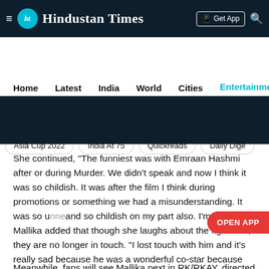≡ HT Hindustan Times | Get App 🔍
Home  Latest  India  World  Cities  Entertainment
Asia Cup 2022 NEW  India At 75  Quickreads  Daily Dige
She continued, "The funniest was with Emraan Hashmi after or during Murder. We didn't speak and now I think it was so childish. It was after the film I think during promotions or something we had a misunderstanding. It was so u... and so childish on my part also. I'm no less." Mallika added that though she laughs about the fight now, they are no longer in touch. "I lost touch with him and it's really sad because he was a wonderful co-star because he's so friendly and giving. He's a nice boy."
Meanwhile, fans will see Mallika next in RK/RKAY, directed by